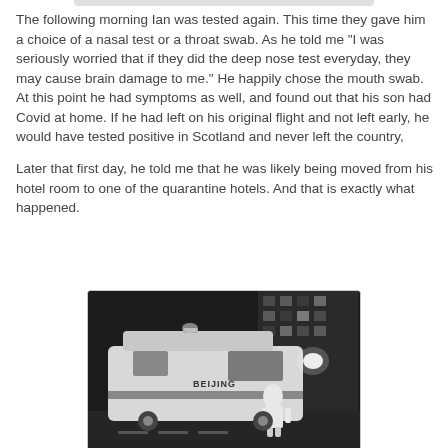The following morning Ian was tested again. This time they gave him a choice of a nasal test or a throat swab. As he told me "I was seriously worried that if they did the deep nose test everyday, they may cause brain damage to me." He happily chose the mouth swab. At this point he had symptoms as well, and found out that his son had Covid at home. If he had left on his original flight and not left early, he would have tested positive in Scotland and never left the country,
Later that first day, he told me that he was likely being moved from his hotel room to one of the quarantine hotels. And that is exactly what happened.
[Figure (photo): Black and white photograph of a van/ambulance with 'BEIJING' text visible on the side, with a person in protective gear standing nearby, taken at night outside a building.]